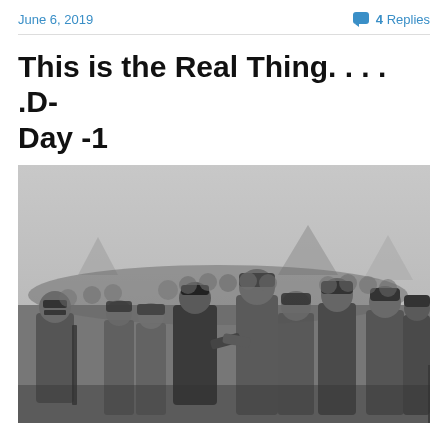June 6, 2019
4 Replies
This is the Real Thing. . . . .D-Day -1
[Figure (photo): Black and white historical photograph of General Eisenhower speaking with paratroopers on the eve of D-Day. A commanding officer in a military cap and uniform is shaking hands or speaking closely with a group of soldiers in full combat gear including helmets and packs. Many soldiers fill the background. A tent is visible in the background.]